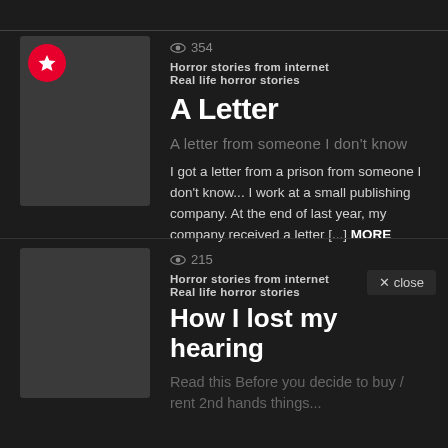[Figure (screenshot): Dark themed content listing UI showing two story cards on a dark background]
354
Horror stories from internet
Real life horror stories
A Letter
A letter from someone I don't know
I got a letter from a prison from someone I don't know... I work at a small publishing company. At the end of last year, my company received a letter [...] MORE
215
Horror stories from internet
Real life horror stories
How I lost my hearing
Read this Before you decide to buy / rent 2nd hands things...
× close